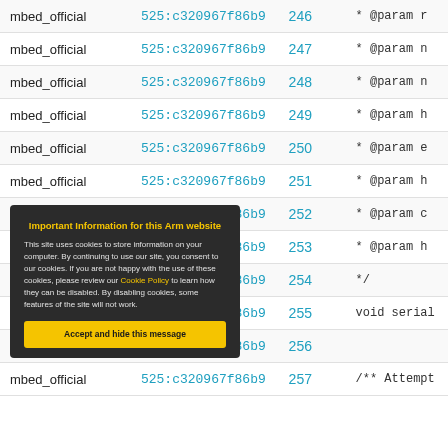| user | commit | line | code |
| --- | --- | --- | --- |
| mbed_official | 525:c320967f86b9 | 246 | * @param n |
| mbed_official | 525:c320967f86b9 | 247 | * @param n |
| mbed_official | 525:c320967f86b9 | 248 | * @param n |
| mbed_official | 525:c320967f86b9 | 249 | * @param h |
| mbed_official | 525:c320967f86b9 | 250 | * @param e |
| mbed_official | 525:c320967f86b9 | 251 | * @param h |
| mbed_official | 525:c320967f86b9 | 252 | * @param c |
| mbed_official | 525:c320967f86b9 | 253 | * @param h |
| mbed_official | 525:c320967f86b9 | 254 | */ |
| mbed_official | 525:c320967f86b9 | 255 | void serial |
| mbed_official | 525:c320967f86b9 | 256 |  |
| mbed_official | 525:c320967f86b9 | 257 | /** Attempt |
Important Information for this Arm website
This site uses cookies to store information on your computer. By continuing to use our site, you consent to our cookies. If you are not happy with the use of these cookies, please review our Cookie Policy to learn how they can be disabled. By disabling cookies, some features of the site will not work.
Accept and hide this message